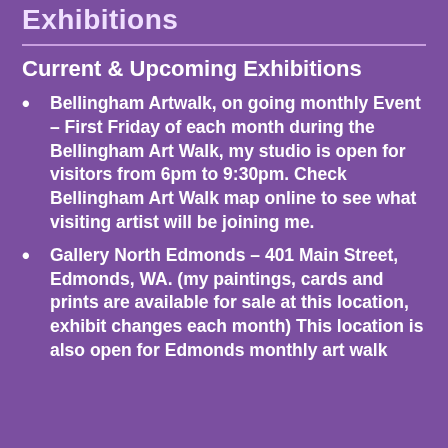Exhibitions
Current & Upcoming Exhibitions
Bellingham Artwalk, on going monthly Event – First Friday of each month during the Bellingham Art Walk, my studio is open for visitors from 6pm to 9:30pm. Check Bellingham Art Walk map online to see what visiting artist will be joining me.
Gallery North Edmonds – 401 Main Street, Edmonds, WA. (my paintings, cards and prints are available for sale at this location, exhibit changes each month) This location is also open for Edmonds monthly art walk